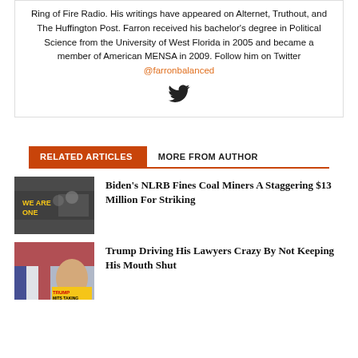Ring of Fire Radio. His writings have appeared on Alternet, Truthout, and The Huffington Post. Farron received his bachelor's degree in Political Science from the University of West Florida in 2005 and became a member of American MENSA in 2009. Follow him on Twitter @farronbalanced
[Figure (illustration): Twitter bird icon]
RELATED ARTICLES   MORE FROM AUTHOR
Biden's NLRB Fines Coal Miners A Staggering $13 Million For Striking
Trump Driving His Lawyers Crazy By Not Keeping His Mouth Shut